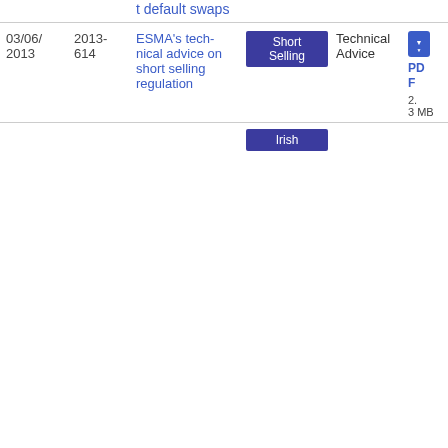| Date | Ref | Title | Topic | Type | Download |
| --- | --- | --- | --- | --- | --- |
|  |  | t default swaps | Short Selling | Technical Advice | PDF 2.3 MB |
| 03/06/2013 | 2013-614 | ESMA's technical advice on short selling regulation | Short Selling | Technical Advice | PDF 2.3 MB |
|  |  |  | Irish |  |  |